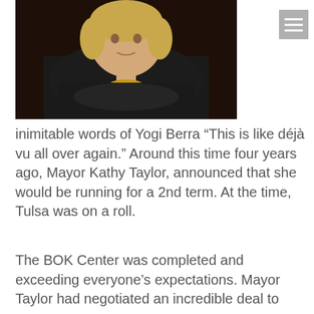[Figure (photo): Professional headshot of a blonde woman in a dark blazer with arms crossed, wearing a gold necklace, against a dark background.]
inimitable words of Yogi Berra “This is like déjà vu all over again.” Around this time four years ago, Mayor Kathy Taylor, announced that she would be running for a 2nd term. At the time, Tulsa was on a roll.
The BOK Center was completed and exceeding everyone’s expectations. Mayor Taylor had negotiated an incredible deal to